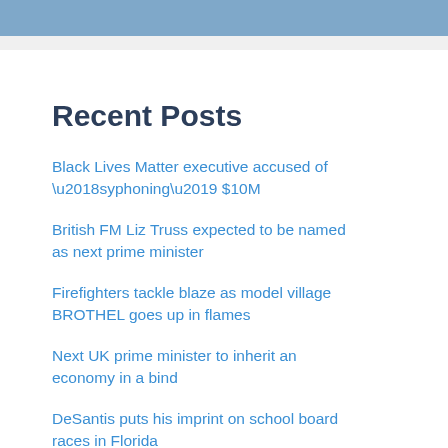Recent Posts
Black Lives Matter executive accused of ‘syphoning’ $10M
British FM Liz Truss expected to be named as next prime minister
Firefighters tackle blaze as model village BROTHEL goes up in flames
Next UK prime minister to inherit an economy in a bind
DeSantis puts his imprint on school board races in Florida